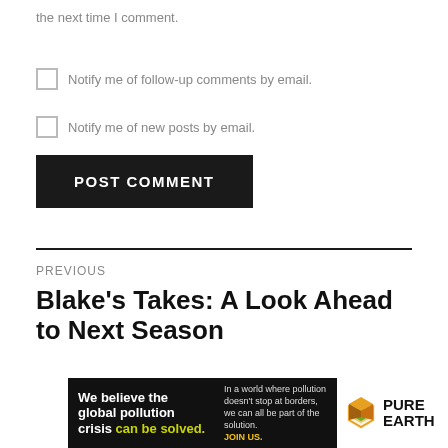the next time I comment.
Notify me of follow-up comments by email.
Notify me of new posts by email.
POST COMMENT
PREVIOUS
Blake's Takes: A Look Ahead to Next Season
[Figure (other): Pure Earth advertisement banner: 'We believe the global pollution crisis can be solved. In a world where pollution doesn't stop at borders, we can all be part of the solution. JOIN US.' with Pure Earth logo.]